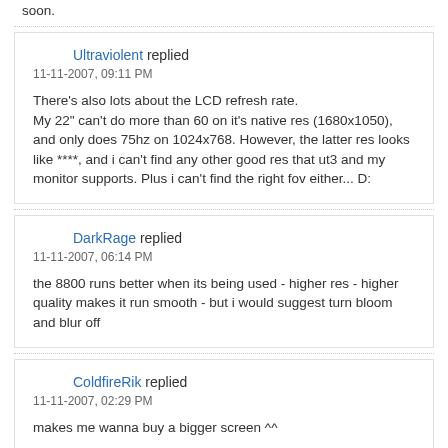soon.
Ultraviolent replied
11-11-2007, 09:11 PM
There's also lots about the LCD refresh rate.
My 22" can't do more than 60 on it's native res (1680x1050), and only does 75hz on 1024x768. However, the latter res looks like ****, and i can't find any other good res that ut3 and my monitor supports. Plus i can't find the right fov either... D:
DarkRage replied
11-11-2007, 06:14 PM
the 8800 runs better when its being used - higher res - higher quality makes it run smooth - but i would suggest turn bloom and blur off
ColdfireRik replied
11-11-2007, 02:29 PM
makes me wanna buy a bigger screen ^^
da ghost replied